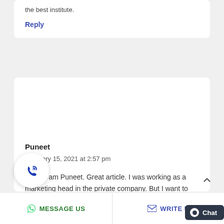the best institute.
Reply
Puneet
February 15, 2021 at 2:57 pm
Hello, I am Puneet. Great article. I was working as a marketing head in the private company. But I want to take this Digital Marketing course because, I am not so much of the social media person. I want to
MESSAGE US
WRITE U
Chat